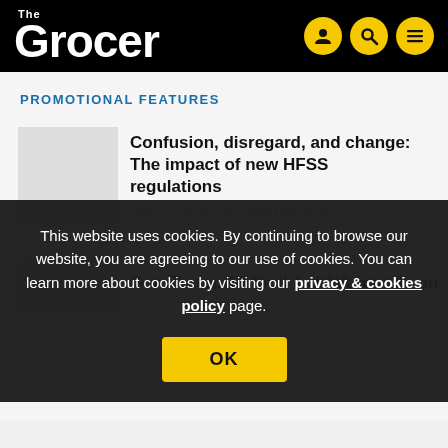The Grocer
PROMOTIONAL FEATURES
Confusion, disregard, and change: The impact of new HFSS regulations
This content is provided by Triyit
Gen Z's top 10 food & drink brands on
This website uses cookies. By continuing to browse our website, you are agreeing to our use of cookies. You can learn more about cookies by visiting our privacy & cookies policy page.
OK